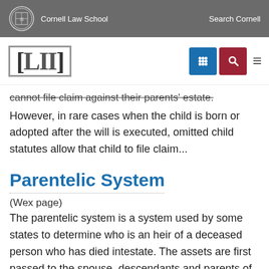Cornell Law School | Search Cornell
[Figure (logo): LII Legal Information Institute logo with navigation icons (grid icon in blue, search icon in red, and hamburger menu)]
cannot file claim against their parents' estate. However, in rare cases when the child is born or adopted after the will is executed, omitted child statutes allow that child to file claim...
Parentelic System
(Wex page)
The parentelic system is a system used by some states to determine who is an heir of a deceased person who has died intestate. The assets are first passed to the spouse, descendants and parents of the decedent, then to siblings, nieces and nephews of...
P...